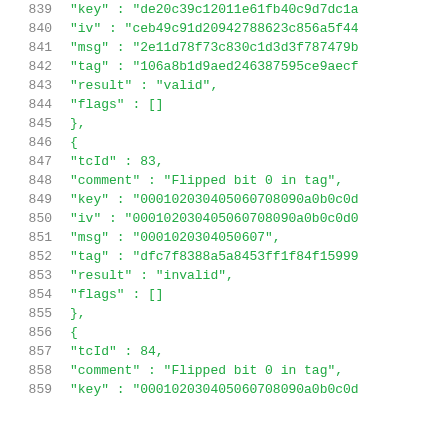839  "key" : "de20c39c12011e61fb40c9d7dc1a
840  "iv" : "ceb49c91d20942788623c856a5f44
841  "msg" : "2e11d78f73c830c1d3d3f787479b
842  "tag" : "106a8b1d9aed246387595ce9aecf
843  "result" : "valid",
844  "flags" : []
845  },
846  {
847  "tcId" : 83,
848  "comment" : "Flipped bit 0 in tag",
849  "key" : "000102030405060708090a0b0c0d
850  "iv" : "000102030405060708090a0b0c0d0
851  "msg" : "0001020304050607",
852  "tag" : "dfc7f8388a5a8453ff1f84f15999
853  "result" : "invalid",
854  "flags" : []
855  },
856  {
857  "tcId" : 84,
858  "comment" : "Flipped bit 0 in tag",
859  "key" : "000102030405060708090a0b0c0d